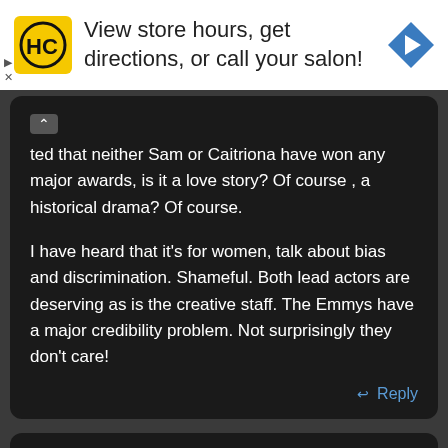[Figure (screenshot): Advertisement banner for a salon chain (HC logo) with text 'View store hours, get directions, or call your salon!' and a blue navigation arrow icon. Includes play and close controls.]
ted that neither Sam or Caitriona have won any major awards, is it a love story? Of course , a historical drama? Of course.

I have heard that it's for women, talk about bias and discrimination. Shameful. Both lead actors are deserving as is the creative staff. The Emmys have a major credibility problem. Not surprisingly they don't care!
↩ Reply
Elaine Gibson
November 16, 2020 at 7:55 pm